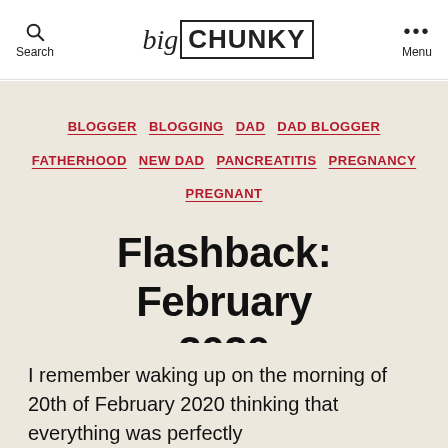Search | [CHUNKY logo] | Menu
BLOGGER  BLOGGING  DAD  DAD BLOGGER  FATHERHOOD  NEW DAD  PANCREATITIS  PREGNANCY  PREGNANT
Flashback: February 2020
By Matthew Bowes   11th Jan 2022   No Comments   Sticky Post
I remember waking up on the morning of 20th of February 2020 thinking that everything was perfectly